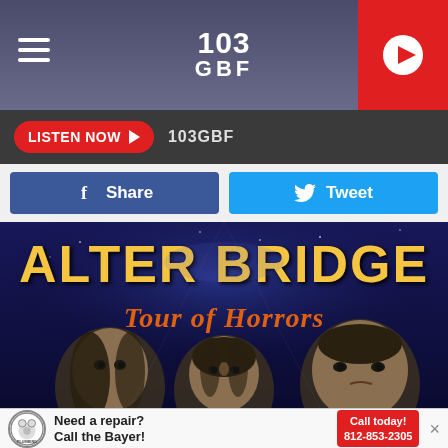[Figure (screenshot): 103 GBF radio station header with hamburger menu on left, 103 GBF logo in center, and red play button on right]
LISTEN NOW ▶  103GBF
[Figure (screenshot): Social sharing buttons: blue Facebook Share button on left, light blue Twitter Tweet button on right]
[Figure (photo): Alter Bridge Tour of Horrors concert poster showing illustrated band members in horror style with golden text 'ALTER BRIDGE' and orange script 'Tour of Horrors']
Need a repair? Call the Bayer!  Call today! 812-853-2305